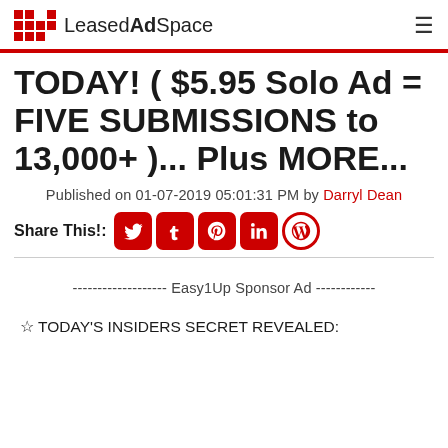LeasedAdSpace
TODAY! ( $5.95 Solo Ad = FIVE SUBMISSIONS to 13,000+ )... Plus MORE...
Published on 01-07-2019 05:01:31 PM by Darryl Dean
Share This!:
------------------- Easy1Up Sponsor Ad ------------
☆ TODAY'S INSIDERS SECRET REVEALED: